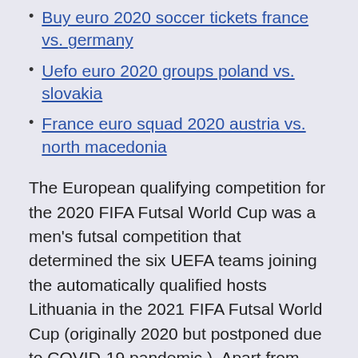Buy euro 2020 soccer tickets france vs. germany
Uefo euro 2020 groups poland vs. slovakia
France euro squad 2020 austria vs. north macedonia
The European qualifying competition for the 2020 FIFA Futsal World Cup was a men's futsal competition that determined the six UEFA teams joining the automatically qualified hosts Lithuania in the 2021 FIFA Futsal World Cup (originally 2020 but postponed due to COVID-19 pandemic ). Apart from Lithuania, a record 48 of the remaining 54 UEFA Mar 20, 2019 · The opening games of 2020 UEFA European Championship qualifying begin with Cristiano Ronaldo back in the squad for the first time since the 2018 FIFA World Cup. England vs. Czech